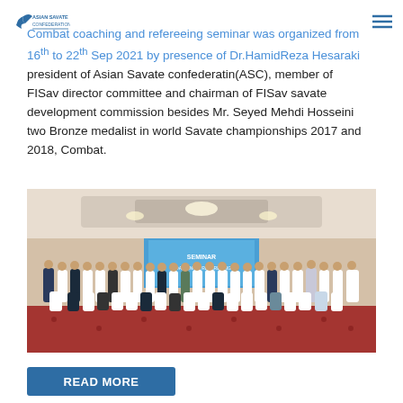Asian Savate Confederation
Combat coaching and refereeing seminar was organized from 16th to 22th Sep 2021 by presence of Dr.HamidReza Hesaraki president of Asian Savate confederatin(ASC), member of FISav director committee and chairman of FISav savate development commission besides Mr. Seyed Mehdi Hosseini two Bronze medalist in world Savate championships 2017 and 2018, Combat.
[Figure (photo): Group photo of seminar attendees — coaches and referees — posed in a banquet hall with a decorative banner, red carpeted floor, seated and standing rows of participants in athletic and formal wear.]
READ MORE